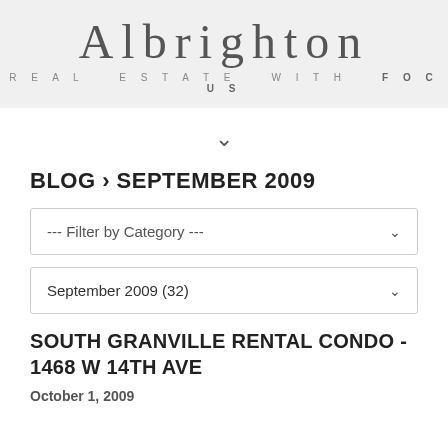ALBRIGHTON
REAL ESTATE WITH FOCUS
BLOG › SEPTEMBER 2009
--- Filter by Category ---
September 2009 (32)
SOUTH GRANVILLE RENTAL CONDO - 1468 W 14TH AVE
October 1, 2009